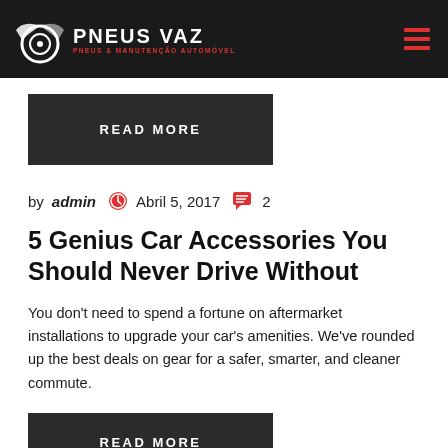PNEUS VAZ — PNEUS & MANUTENÇÃO AUTOMÓVEL
READ MORE
by admin  Abril 5, 2017  2
5 Genius Car Accessories You Should Never Drive Without
You don't need to spend a fortune on aftermarket installations to upgrade your car's amenities. We've rounded up the best deals on gear for a safer, smarter, and cleaner commute.
READ MORE